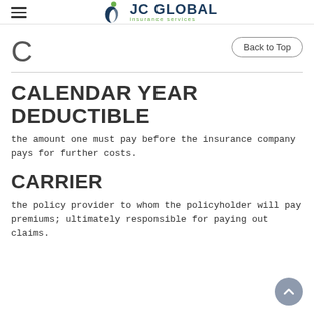JC GLOBAL insurance services
C
CALENDAR YEAR DEDUCTIBLE
the amount one must pay before the insurance company pays for further costs.
CARRIER
the policy provider to whom the policyholder will pay premiums; ultimately responsible for paying out claims.